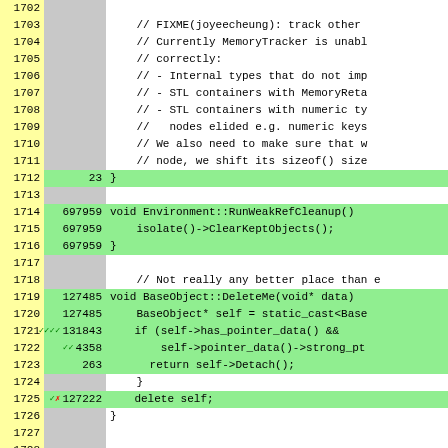[Figure (screenshot): Code coverage viewer showing lines 1702-1727 of a C++ source file. Line numbers in yellow on the left, hit counts in gray/green in the middle column, and code content on the right. Green highlighted rows indicate executed lines. Comments describe MemoryTracker limitations. Functions RunWeakRefCleanup and BaseObject::DeleteMe are shown with coverage counts.]